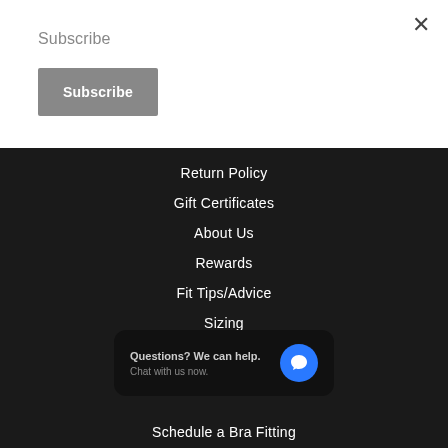Subscribe
Subscribe (button)
Return Policy
Gift Certificates
About Us
Rewards
Fit Tips/Advice
Sizing
Styles Defined
Questions? We can help. Chat with us now.
Schedule a Bra Fitting